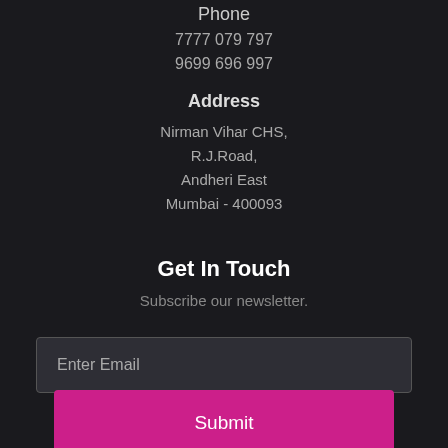Phone
7777 079 797
9699 696 997
Address
Nirman Vihar CHS,
R.J.Road,
Andheri East
Mumbai - 400093
Get In Touch
Subscribe our newsletter.
Enter Email
Submit